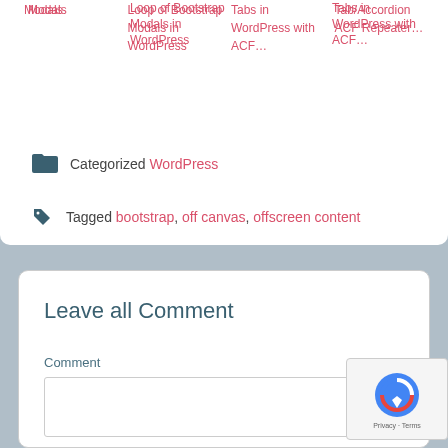Modals
Loop of Bootstrap Modals in WordPress
Tabs in WordPress with ACF…
Tab/Accordion ACF Repeater…
Categorized WordPress
Tagged bootstrap, off canvas, offscreen content
Leave all Comment
Comment